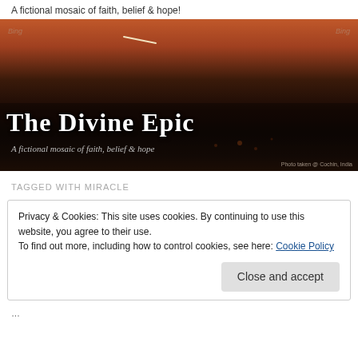A fictional mosaic of faith, belief & hope!
[Figure (photo): Banner image of a dark night sky with reddish-orange sunset/dusk sky at top, silhouetted landscape below. Overlaid with gothic text 'The Divine Epic' and italic subtitle 'A fictional mosaic of faith, belief & hope'. Photo credit: Photo taken @ Cochin, India]
TAGGED WITH MIRACLE
Privacy & Cookies: This site uses cookies. By continuing to use this website, you agree to their use.
To find out more, including how to control cookies, see here: Cookie Policy
Close and accept